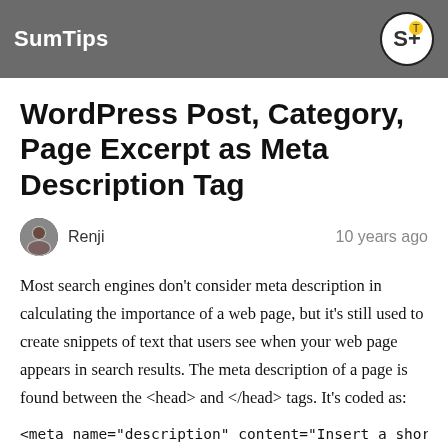SumTips
WordPress Post, Category, Page Excerpt as Meta Description Tag
Renji    10 years ago
Most search engines don't consider meta description in calculating the importance of a web page, but it's still used to create snippets of text that users see when your web page appears in search results. The meta description of a page is found between the <head> and </head> tags. It's coded as:
<meta name="description" content="Insert a short descri
Most of the free WordPress themes available out there don't have the Meta Description Tag and users have to opt for a plugin